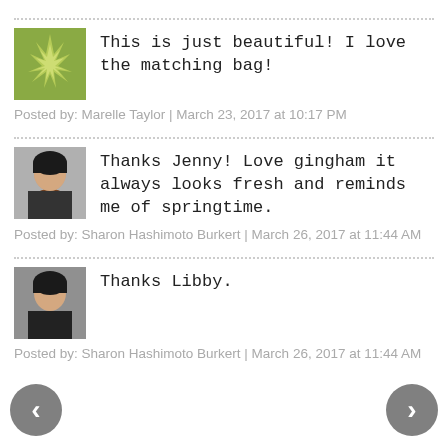This is just beautiful! I love the matching bag!
Posted by: Marelle Taylor | March 23, 2017 at 10:17 PM
Thanks Jenny! Love gingham it always looks fresh and reminds me of springtime.
Posted by: Sharon Hashimoto Burkert | March 26, 2017 at 11:44 AM
Thanks Libby.
Posted by: Sharon Hashimoto Burkert | March 26, 2017 at 11:44 AM